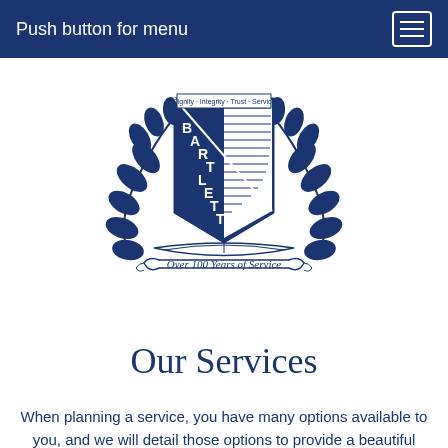Push button for menu
[Figure (logo): Bartlett funeral home crest logo with laurel wreath, shield bearing the name BARTLETT diagonally, banner reading 'Dignity · Integrity · Trust · Service' at top, and scroll at bottom reading 'Over 100 Years of Service']
Our Services
When planning a service, you have many options available to you, and we will detail those options to provide a beautiful and